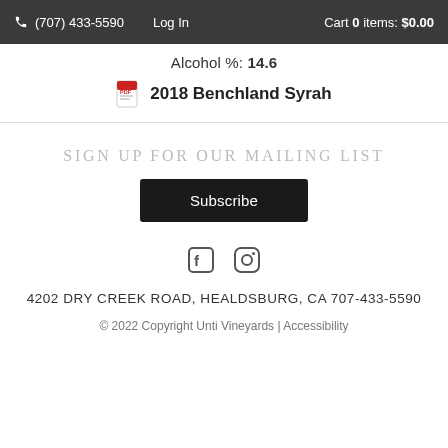(707) 433-5590  Log In  Cart 0 items: $0.00
Alcohol %:  14.6
2018 Benchland Syrah
Sign up for our mailing list
Subscribe
[Figure (other): Facebook and Instagram social media icons]
4202 DRY CREEK ROAD, HEALDSBURG, CA 707-433-5590
© 2022 Copyright Unti Vineyards | Accessibility